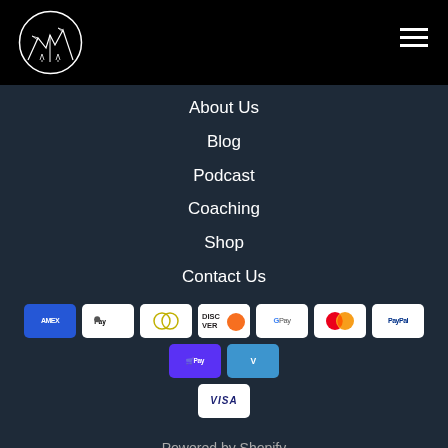[Figure (logo): Mountain/forest logo inside a circle, white line art on black background]
[Figure (illustration): Hamburger menu icon (three horizontal white lines) in top right corner]
About Us
Blog
Podcast
Coaching
Shop
Contact Us
[Figure (illustration): Payment method icons row: American Express, Apple Pay, Diners Club, Discover, Google Pay, Mastercard, PayPal, Shop Pay, Venmo, Visa]
Powered by Shopify